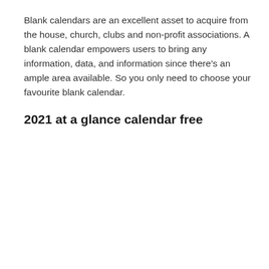Blank calendars are an excellent asset to acquire from the house, church, clubs and non-profit associations. A blank calendar empowers users to bring any information, data, and information since there's an ample area available. So you only need to choose your favourite blank calendar.
2021 at a glance calendar free